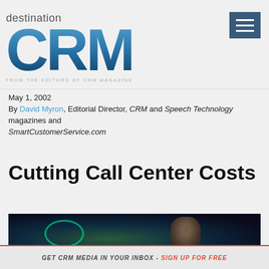[Figure (logo): Destination CRM logo — large blue 3D-style 'CRM' letters with 'destination' text above and 'FROM THE EDITORS OF CRM MAGAZINE' tagline below]
May 1, 2002
By David Myron, Editorial Director, CRM and Speech Technology magazines and SmartCustomerService.com
Cutting Call Center Costs
[Figure (photo): Blurry dark photo showing a person in front of a screen with a green circular element, likely a call center representative]
GET CRM MEDIA IN YOUR INBOX - SIGN UP FOR FREE